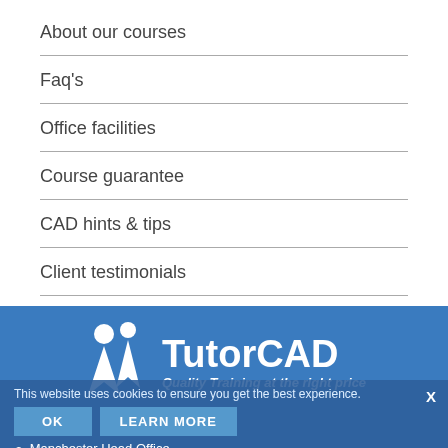About our courses
Faq's
Office facilities
Course guarantee
CAD hints & tips
Client testimonials
[Figure (logo): TutorCAD logo with two figure icons and tagline 'Quality Training at the right price' on blue background]
This website uses cookies to ensure you get the best experience.
OK   LEARN MORE   X
Manchester Head Office
Caidan House, Canal Road, Timperley Cheshire,